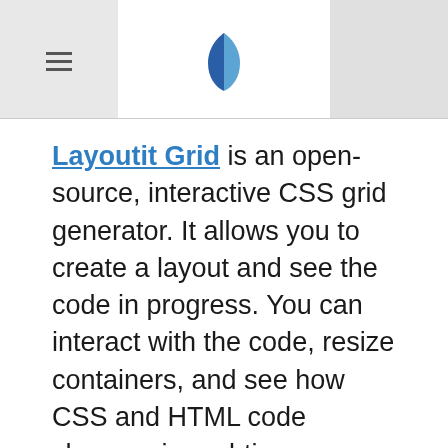[Header with hamburger menu icon and Layoutit logo]
Layoutit Grid is an open-source, interactive CSS grid generator. It allows you to create a layout and see the code in progress. You can interact with the code, resize containers, and see how CSS and HTML code changes in real-time.
Once you're done with the layout, you can go to CodePen with the ready-to-use code. After that, you can move on to your next project. This tool brings code to the front, helping